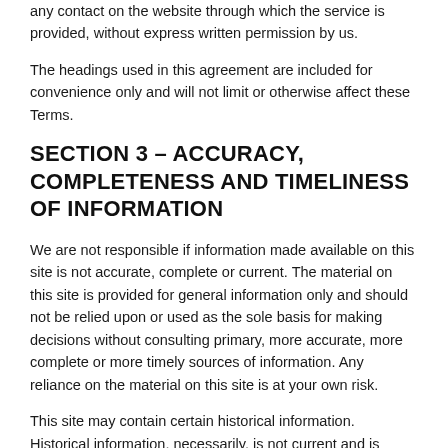any contact on the website through which the service is provided, without express written permission by us.
The headings used in this agreement are included for convenience only and will not limit or otherwise affect these Terms.
SECTION 3 – ACCURACY, COMPLETENESS AND TIMELINESS OF INFORMATION
We are not responsible if information made available on this site is not accurate, complete or current. The material on this site is provided for general information only and should not be relied upon or used as the sole basis for making decisions without consulting primary, more accurate, more complete or more timely sources of information. Any reliance on the material on this site is at your own risk.
This site may contain certain historical information. Historical information, necessarily, is not current and is provided for your reference only. We reserve the right to modify the contents of this site at any time, but we have no obligation to update any information on our site. You agree that it is your responsibility to monitor changes to our site.